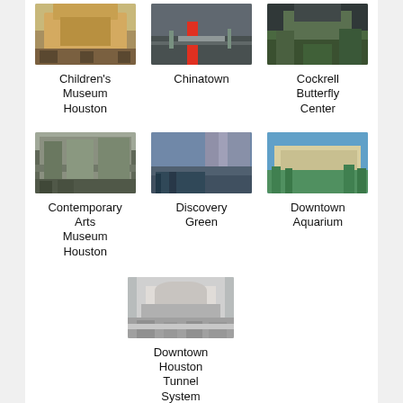[Figure (photo): Children's Museum Houston exterior]
Children's Museum Houston
[Figure (photo): Chinatown street view]
Chinatown
[Figure (photo): Cockrell Butterfly Center exterior with trees]
Cockrell Butterfly Center
[Figure (photo): Contemporary Arts Museum Houston exterior]
Contemporary Arts Museum Houston
[Figure (photo): Discovery Green urban park with skyscrapers]
Discovery Green
[Figure (photo): Downtown Aquarium exterior with palm trees]
Downtown Aquarium
[Figure (photo): Downtown Houston Tunnel System interior]
Downtown Houston Tunnel System